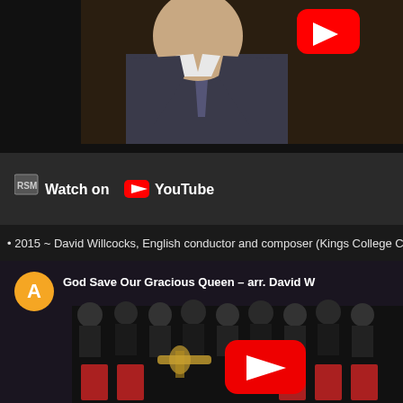[Figure (screenshot): Top YouTube video thumbnail showing a man in a suit and tie speaking, with a YouTube play button overlay in the upper right.]
[Figure (screenshot): Watch on YouTube bar with RSMI logo and YouTube logo/text.]
• 2015 ~ David Willcocks, English conductor and composer (Kings College Ch...
[Figure (screenshot): Bottom YouTube video thumbnail showing a choir and orchestra performing, with orange avatar circle labeled 'A', title 'God Save Our Gracious Queen – arr. David W...' and a red YouTube play button overlay.]